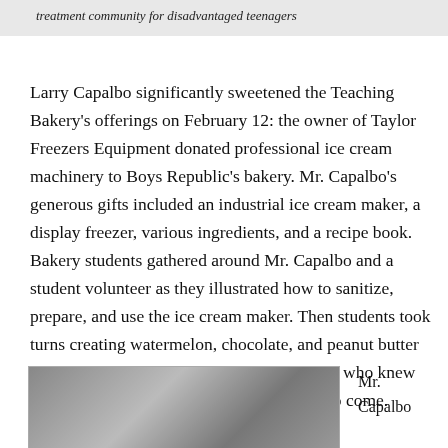treatment community for disadvantaged teenagers
Larry Capalbo significantly sweetened the Teaching Bakery's offerings on February 12: the owner of Taylor Freezers Equipment donated professional ice cream machinery to Boys Republic's bakery. Mr. Capalbo's generous gifts included an industrial ice cream maker, a display freezer, various ingredients, and a recipe book. Bakery students gathered around Mr. Capalbo and a student volunteer as they illustrated how to sanitize, prepare, and use the ice cream maker. Then students took turns creating watermelon, chocolate, and peanut butter and jelly flavored ice creams for eager staff, who knew this was but a small sampling of the treats to come.
[Figure (photo): Photo of people in a bakery setting, partially cropped at bottom of page]
Mr. Capalbo